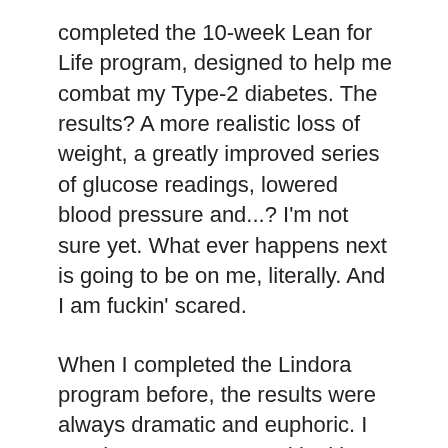completed the 10-week Lean for Life program, designed to help me combat my Type-2 diabetes. The results? A more realistic loss of weight, a greatly improved series of glucose readings, lowered blood pressure and...? I'm not sure yet. What ever happens next is going to be on me, literally. And I am fuckin' scared.
When I completed the Lindora program before, the results were always dramatic and euphoric. I was leaner, meaner and looking oh-so chic! (Ironically, that euphoria was also felt whenever I completed one of my late night eating binges of King Taco's finest.) But like the fast food I returned to court with renewed gusto, the results were never satisfying or lasting. The weight would come back in due time, usually with a few MORE pounds tagging along for the next ride.